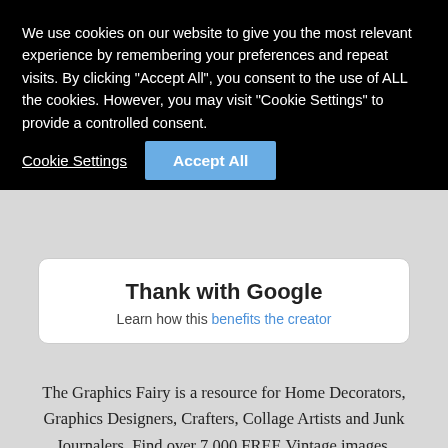We use cookies on our website to give you the most relevant experience by remembering your preferences and repeat visits. By clicking “Accept All”, you consent to the use of ALL the cookies. However, you may visit "Cookie Settings" to provide a controlled consent.
Cookie Settings
Accept All
Thank with Google
Learn how this benefits the creator
The Graphics Fairy is a resource for Home Decorators, Graphics Designers, Crafters, Collage Artists and Junk Journalers. Find over 7,000 FREE Vintage images, Illustrations, Vintage Pictures, Stock Images, Antique Graphics, Craft Clipart, Vintage Photos, and Printable Art, to MAKE craft projects, collage, Mixed Media, Junk Journals, DIY, scrapbooking, etc! DIY and Craft Tutorials, and Home